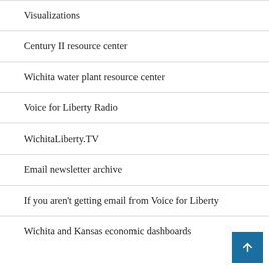Visualizations
Century II resource center
Wichita water plant resource center
Voice for Liberty Radio
WichitaLiberty.TV
Email newsletter archive
If you aren't getting email from Voice for Liberty
Wichita and Kansas economic dashboards